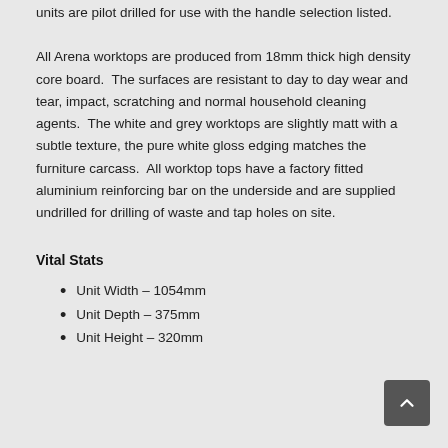manufactured from OEM renewable sources. Arena Vanity units are pilot drilled for use with the handle selection listed.
All Arena worktops are produced from 18mm thick high density core board.  The surfaces are resistant to day to day wear and tear, impact, scratching and normal household cleaning agents.  The white and grey worktops are slightly matt with a subtle texture, the pure white gloss edging matches the furniture carcass.  All worktop tops have a factory fitted aluminium reinforcing bar on the underside and are supplied undrilled for drilling of waste and tap holes on site.
Vital Stats
Unit Width – 1054mm
Unit Depth – 375mm
Unit Height – 320mm